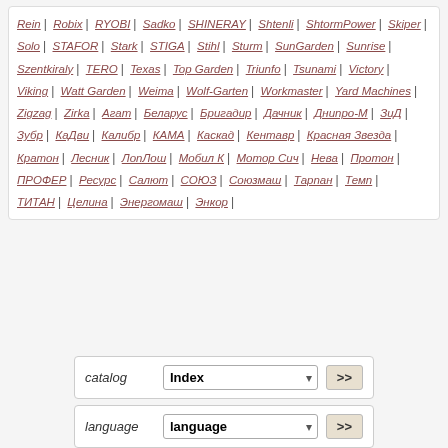Rein | Robix | RYOBI | Sadko | SHINERAY | Shtenli | ShtormPower | Skiper | Solo | STAFOR | Stark | STIGA | Stihl | Sturm | SunGarden | Sunrise | Szentkiraly | TERO | Texas | Top Garden | Triunfo | Tsunami | Victory | Viking | Watt Garden | Weima | Wolf-Garten | Workmaster | Yard Machines | Zigzag | Zirka | Агат | Беларус | Бригадир | Дачник | Днипро-М | ЗиД | Зубр | КаДви | Калибр | КАМА | Каскад | Кентавр | Красная Звезда | Кратон | Лесник | ЛопЛош | Мобил К | Мотор Сич | Нева | Протон | ПРОФЕР | Ресурс | Салют | СОЮЗ | Союзмаш | Тарпан | Темп | ТИТАН | Целина | Энергомаш | Энкор
catalog  Index >>
language  language >>